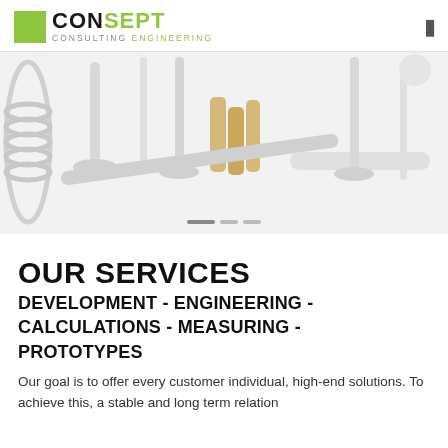CONSEPT CONSULTING ENGINEERING
[Figure (photo): Engineering parts including valve springs, engine valves, cylindrical pins and metal rods arranged on white background]
OUR SERVICES
DEVELOPMENT - ENGINEERING - CALCULATIONS - MEASURING - PROTOTYPES
Our goal is to offer every customer individual, high-end solutions. To achieve this, a stable and long term relation